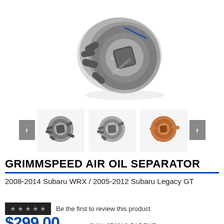[Figure (photo): Main product photo of GrimmSpeed Air Oil Separator device, dark grey/black metallic component with multiple ports and GrimmSpeed branding, shown on white background]
[Figure (photo): Three thumbnail images of GrimmSpeed Air Oil Separator: two dark grey versions and one copper/red version, with left and right navigation arrows]
GRIMMSPEED AIR OIL SEPARATOR
2008-2014 Subaru WRX / 2005-2012 Subaru Legacy GT
Be the first to review this product
$299.00
SKU: 078016-PARENT